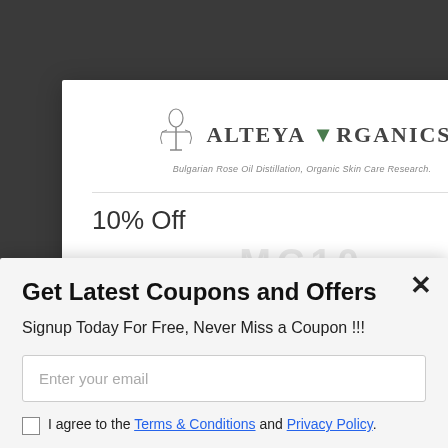[Figure (screenshot): Alteya Organics popup modal showing logo, 10% Off offer, and 'COPY THIS CODE AND USE AT CHECKOUT' text]
Get Latest Coupons and Offers
Signup Today For Free, Never Miss a Coupon !!!
Enter your email
I agree to the Terms & Conditions and Privacy Policy.